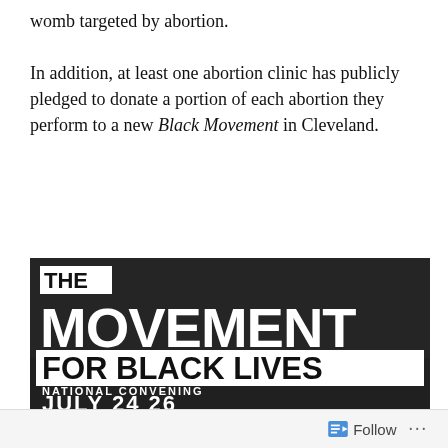womb targeted by abortion.

In addition, at least one abortion clinic has publicly pledged to donate a portion of each abortion they perform to a new Black Movement in Cleveland.
[Figure (photo): Black and white event poster for 'The Movement for Black Lives — National Convening, July 24-26']
Follow ···